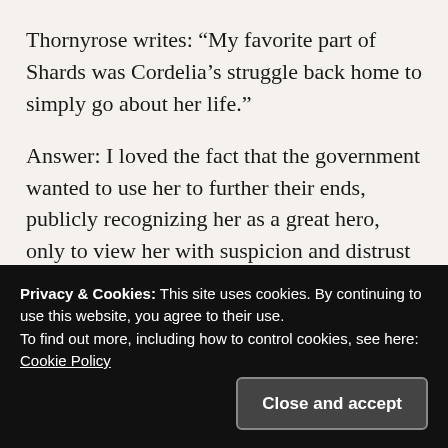Thornyrose writes: “My favorite part of Shards was Cordelia’s struggle back home to simply go about her life.”
Answer: I loved the fact that the government wanted to use her to further their ends, publicly recognizing her as a great hero, only to view her with suspicion and distrust when she refuses to play ball. I found it interesting that, in the minds of the Betan authorities, the more tolerant a...
Privacy & Cookies: This site uses cookies. By continuing to use this website, you agree to their use.
To find out more, including how to control cookies, see here: Cookie Policy